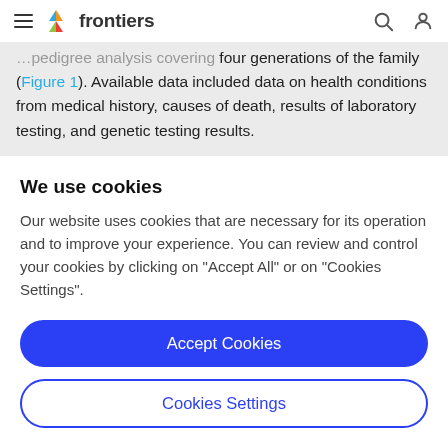frontiers
four generations of the family (Figure 1). Available data included data on health conditions from medical history, causes of death, results of laboratory testing, and genetic testing results.
We use cookies
Our website uses cookies that are necessary for its operation and to improve your experience. You can review and control your cookies by clicking on "Accept All" or on "Cookies Settings".
Accept Cookies
Cookies Settings